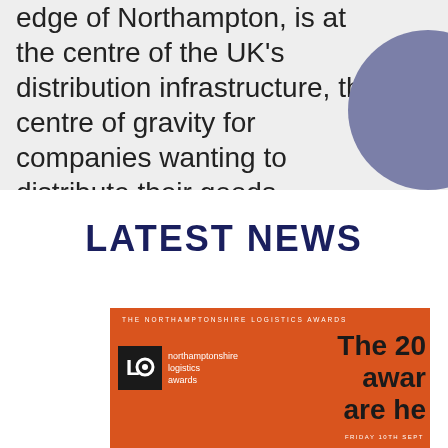edge of Northampton, is at the centre of the UK's distribution infrastructure, the centre of gravity for companies wanting to distribute their goods nationally and internationally.
LATEST NEWS
[Figure (photo): Northamptonshire Logistics Awards promotional image on orange background showing logo and text 'The 20 awards are here' with date 'FRIDAY 10TH SEPT']